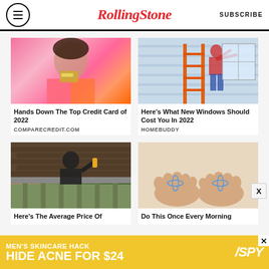RollingStone | SUBSCRIBE
[Figure (photo): Young woman with dark hair holding a gold credit card against a pink background, wearing an orange and pink striped top]
Hands Down The Top Credit Card of 2022
COMPARECREDIT.COM
[Figure (photo): Person on an orange ladder installing or replacing a window on the exterior of a house]
Here's What New Windows Should Cost You In 2022
HOMEBUDDY
[Figure (photo): Person in a black hoodie cleaning a roof gutter, reaching up with a tool]
Here's The Average Price Of
[Figure (photo): Close-up of feet with blue yarn balls between the toes, on a light background]
Do This Once Every Morning
[Figure (photo): Advertisement banner: MEN'S SKINCARE HACK HIDE ACNE FOR $24 with SPY logo on yellow background]